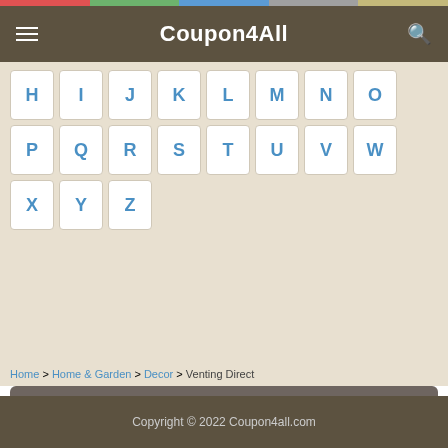Coupon4All
[Figure (screenshot): Alphabet navigation grid showing letters H through Z in rounded white button tiles on a beige background]
Home > Home & Garden > Decor > Venting Direct
[Figure (infographic): Newsletter signup section with Gmail-style envelope icon, heading 'Get Our FREE Weekly Newsletter', subtext 'enjoy our best deals of the week', email input field and Subscribe button]
Copyright © 2022 Coupon4all.com